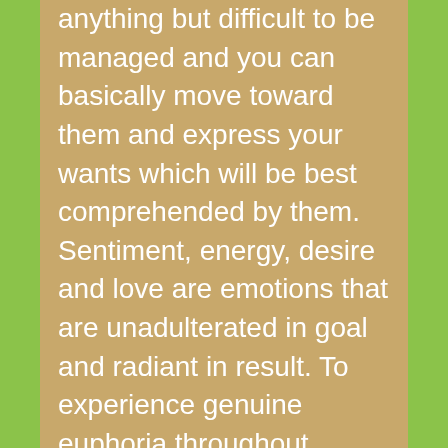anything but difficult to be managed and you can basically move toward them and express your wants which will be best comprehended by them. Sentiment, energy, desire and love are emotions that are unadulterated in goal and radiant in result. To experience genuine euphoria throughout everyday life, you can benefit the administrations of best escorts in Navalur and invest an energy of extreme harmony and